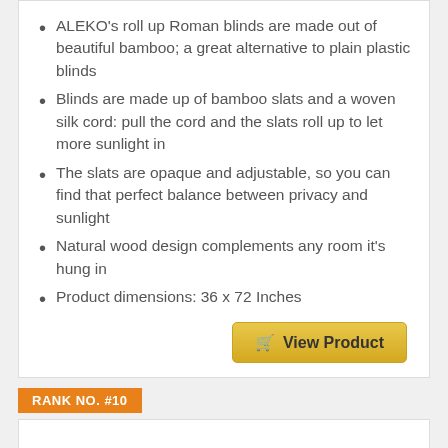ALEKO's roll up Roman blinds are made out of beautiful bamboo; a great alternative to plain plastic blinds
Blinds are made up of bamboo slats and a woven silk cord: pull the cord and the slats roll up to let more sunlight in
The slats are opaque and adjustable, so you can find that perfect balance between privacy and sunlight
Natural wood design complements any room it's hung in
Product dimensions: 36 x 72 Inches
View Product
RANK NO. #10